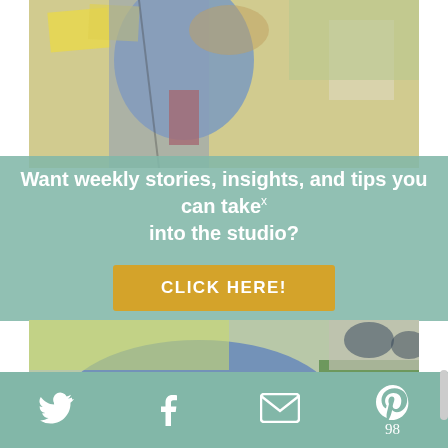[Figure (photo): Abstract painting (top portion) showing colorful figures with yellows, blues, reds on canvas — partially visible, cropped view]
Want weekly stories, insights, and tips you can take into the studio?
CLICK HERE!
[Figure (photo): Abstract painting (bottom portion) showing colorful abstract shapes — blue, red, green, yellow on canvas]
There was no dry 'theory', but through a
This website uses cookies to improve your experience. By continuing to use this site, you agree to our use of
Twitter  Facebook  Email  Pinterest 98